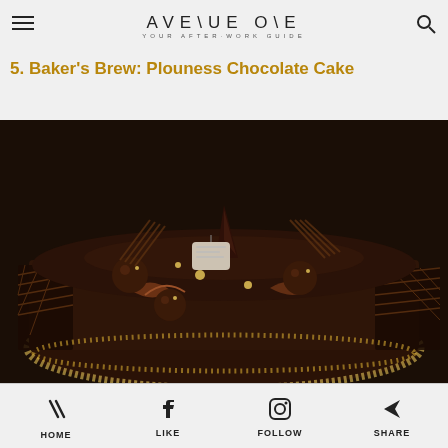AVENUE ONE — YOUR AFTER-WORK GUIDE
5. Baker's Brew: Plouness Chocolate Cake
[Figure (photo): Close-up photo of a dark chocolate cake decorated with chocolate spheres, chocolate shards, chocolate lattice pieces, and gold pearl accents on a dark background.]
HOME  LIKE  FOLLOW  SHARE